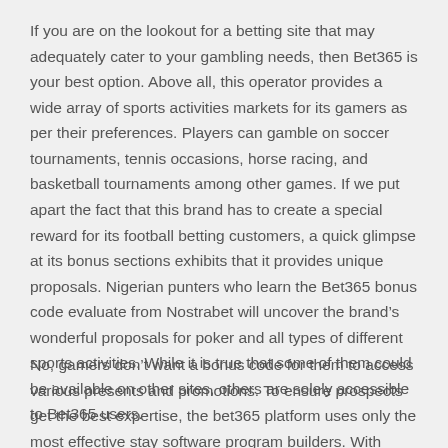If you are on the lookout for a betting site that may adequately cater to your gambling needs, then Bet365 is your best option. Above all, this operator provides a wide array of sports activities markets for its gamers as per their preferences. Players can gamble on soccer tournaments, tennis occasions, horse racing, and basketball tournaments among other games. If we put apart the fact that this brand has to create a special reward for its football betting customers, a quick glimpse at its bonus sections exhibits that it provides unique proposals. Nigerian punters who learn the Bet365 bonus code evaluate from Nostrabet will uncover the brand's wonderful proposals for poker and all types of different sports activities. While it is true that some of them could be available on other sites, others are solely accessible to Bet365 users.
No, gamers don't want a bonus code for them to access various presents and promotions. To ensure prospects get the best expertise, the bet365 platform uses only the most effective stay software program builders. With